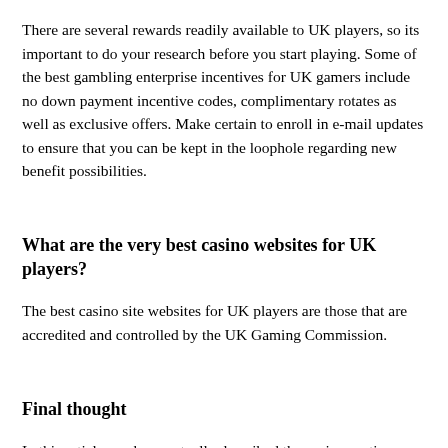There are several rewards readily available to UK players, so its important to do your research before you start playing. Some of the best gambling enterprise incentives for UK gamers include no down payment incentive codes, complimentary rotates as well as exclusive offers. Make certain to enroll in e-mail updates to ensure that you can be kept in the loophole regarding new benefit possibilities.
What are the very best casino websites for UK players?
The best casino site websites for UK players are those that are accredited and controlled by the UK Gaming Commission.
Final thought
In this article, we have actually described the various actions you need to take to find the finest online casinos for UK gamers. From finding the best casino site online to making deposits as well as withdrawing money, we have covered whatever you require to